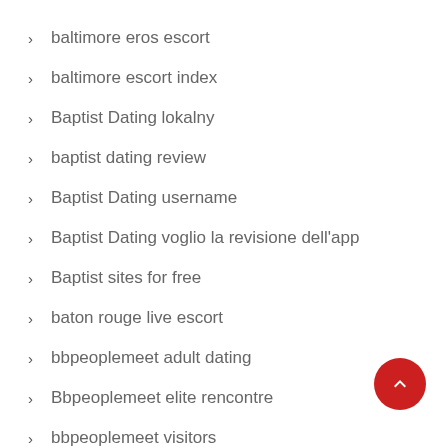baltimore eros escort
baltimore escort index
Baptist Dating lokalny
baptist dating review
Baptist Dating username
Baptist Dating voglio la revisione dell'app
Baptist sites for free
baton rouge live escort
bbpeoplemeet adult dating
Bbpeoplemeet elite rencontre
bbpeoplemeet visitors
Bbw dating reviews
bbw randkowe strony
Bbwcupid kostenlose App
BBWCupid visitors